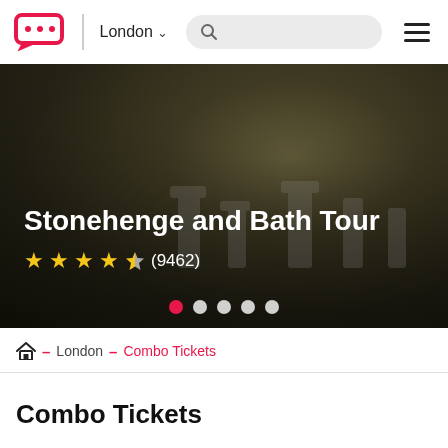Logo | London ▾ [search] ☰
[Figure (screenshot): Hero image of Stonehenge at dusk with dark olive-brown background. Text overlay: 'Stonehenge and Bath Tour' with 4.5 star rating (9462 reviews). Carousel dots at bottom (5 dots, first active in red).]
🏠 – London – Combo Tickets
Combo Tickets